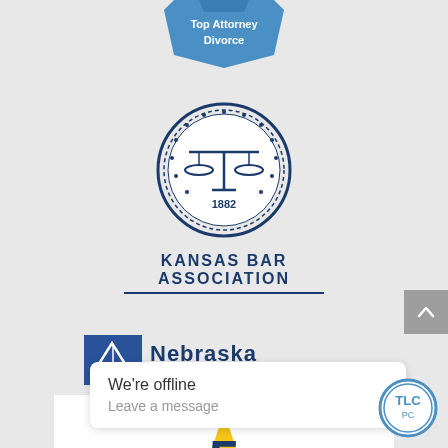[Figure (logo): Top Attorney Divorce badge - blue ribbon/badge shape with text 'Top Attorney Divorce']
[Figure (logo): Kansas Bar Association circular seal logo with scales of justice, wreath border, year 1882, and text 'KANSAS BAR ASSOCIATION']
[Figure (logo): Nebraska State Bar Association logo with scales of justice icon and text 'NEBRASKA State Bar Association']
[Figure (logo): Five Star Reviews Site badge - gold star with number 5, text 'five star REVIEWS SITE' and 'CLICK HERE TO READ OUR REVIEWS OR POST A NEW REVIEW']
[Figure (screenshot): Offline chat popup: 'We're offline / Leave a message']
[Figure (logo): TLC PC circular logo in blue]